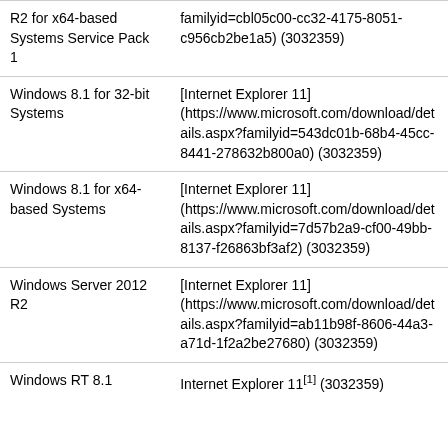| Operating System | Update |
| --- | --- |
| R2 for x64-based Systems Service Pack 1 | familyid=cbl05c00-cc32-4175-8051-c956cb2be1a5) (3032359) |
| Windows 8.1 for 32-bit Systems | [Internet Explorer 11] (https://www.microsoft.com/download/details.aspx?familyid=543dc01b-68b4-45cc-8441-278632b800a0) (3032359) |
| Windows 8.1 for x64-based Systems | [Internet Explorer 11] (https://www.microsoft.com/download/details.aspx?familyid=7d57b2a9-cf00-49bb-8137-f26863bf3af2) (3032359) |
| Windows Server 2012 R2 | [Internet Explorer 11] (https://www.microsoft.com/download/details.aspx?familyid=ab11b98f-8606-44a3-a71d-1f2a2be27680) (3032359) |
| Windows RT 8.1 | Internet Explorer 11[1] (3032359) |